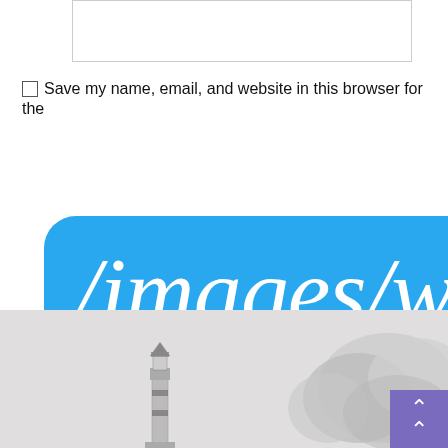[Figure (screenshot): Empty text input box (form field)]
Save my name, email, and website in this browser for the
[Figure (infographic): Blue rounded tooltip/popup box showing the text '/images/wid' on first line and 'icon.svg' on second line in large white serif italic/regular font on a bright blue background]
[Figure (photo): Grayscale photo of a lighthouse and cloudy/smoky sky scene at the bottom of the page, with a purple scroll-to-top button in the bottom right corner]